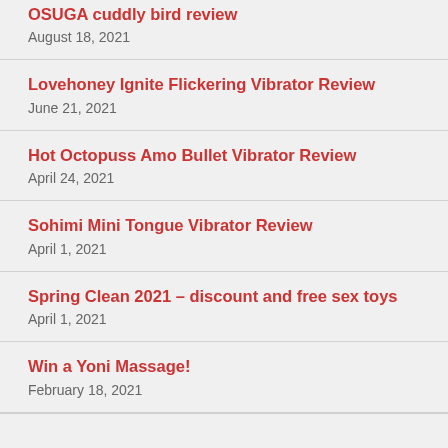OSUGA cuddly bird review
August 18, 2021
Lovehoney Ignite Flickering Vibrator Review
June 21, 2021
Hot Octopuss Amo Bullet Vibrator Review
April 24, 2021
Sohimi Mini Tongue Vibrator Review
April 1, 2021
Spring Clean 2021 – discount and free sex toys
April 1, 2021
Win a Yoni Massage!
February 18, 2021